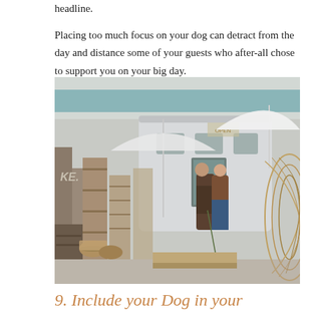headline.

Placing too much focus on your dog can detract from the day and distance some of your guests who after-all chose to support you on your big day.
[Figure (photo): A couple standing with their dog in front of a vintage Airstream trailer surrounded by eclectic outdoor furniture and decor, at what appears to be a market or event space. A white umbrella is visible on the right, and a large woven rattan sculpture is partially visible on the right edge.]
9. Include your Dog in your